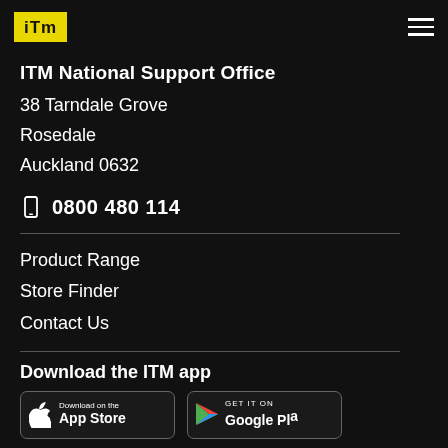ITM logo and navigation hamburger menu
ITM National Support Office
38 Tarndale Grove
Rosedale
Auckland 0632
0800 480 114
Product Range
Store Finder
Contact Us
Download the ITM app
[Figure (logo): Download on the App Store badge]
[Figure (logo): Get it on Google Play badge]